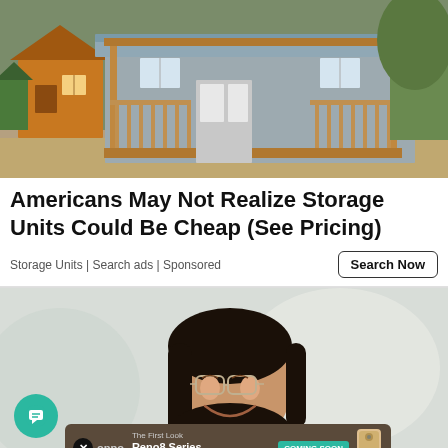[Figure (photo): Outdoor photo of portable storage sheds/tiny houses: a large grey and white cabin-style shed with wooden porch and blue metal roof in the foreground, smaller colorful sheds visible behind and to the left, surrounded by trees and gravel.]
Americans May Not Realize Storage Units Could Be Cheap (See Pricing)
Storage Units | Search ads | Sponsored
[Figure (photo): Photo of a smiling young woman with dark hair and glasses looking at something off-screen, blurred light background. Overlaid with a chat button (teal circle with message icon) and an OPPO Reno8 Series 'Coming Soon' advertisement banner.]